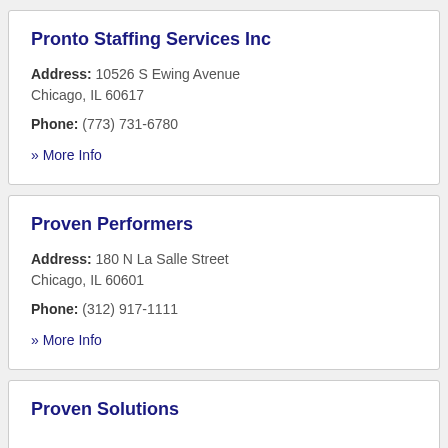Pronto Staffing Services Inc
Address: 10526 S Ewing Avenue Chicago, IL 60617
Phone: (773) 731-6780
» More Info
Proven Performers
Address: 180 N La Salle Street Chicago, IL 60601
Phone: (312) 917-1111
» More Info
Proven Solutions